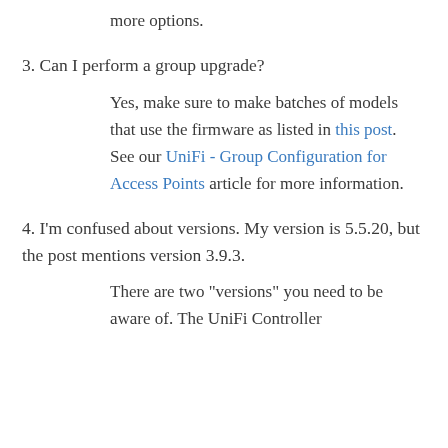more options.
3. Can I perform a group upgrade?
Yes, make sure to make batches of models that use the firmware as listed in this post. See our UniFi - Group Configuration for Access Points article for more information.
4. I'm confused about versions. My version is 5.5.20, but the post mentions version 3.9.3.
There are two "versions" you need to be aware of. The UniFi Controller